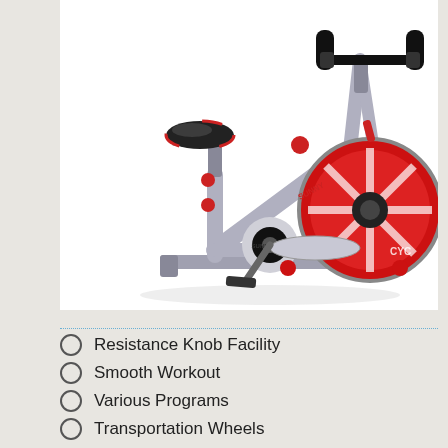[Figure (photo): A Sunny Brand indoor cycling/spinning exercise bike with grey frame, red flywheel cover, black handlebars, and red accent wheels. The bike is shown at an angle on a white background.]
Resistance Knob Facility
Smooth Workout
Various Programs
Transportation Wheels